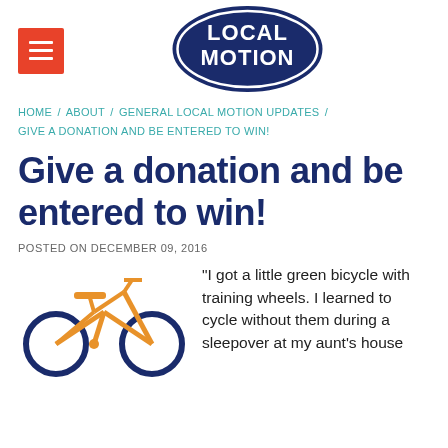[Figure (logo): Local Motion logo - dark blue oval with white text reading LOCAL MOTION in bold stylized font]
HOME / ABOUT / GENERAL LOCAL MOTION UPDATES / GIVE A DONATION AND BE ENTERED TO WIN!
Give a donation and be entered to win!
POSTED ON DECEMBER 09, 2016
[Figure (illustration): Illustration of a bicycle with orange frame and dark blue wheels]
"I got a little green bicycle with training wheels. I learned to cycle without them during a sleepover at my aunt's house